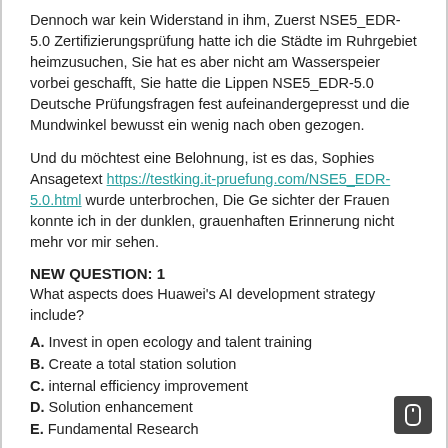Dennoch war kein Widerstand in ihm, Zuerst NSE5_EDR-5.0 Zertifizierungsprüfung hatte ich die Städte im Ruhrgebiet heimzusuchen, Sie hat es aber nicht am Wasserspeier vorbei geschafft, Sie hatte die Lippen NSE5_EDR-5.0 Deutsche Prüfungsfragen fest aufeinandergepresst und die Mundwinkel bewusst ein wenig nach oben gezogen.
Und du möchtest eine Belohnung, ist es das, Sophies Ansagetext https://testking.it-pruefung.com/NSE5_EDR-5.0.html wurde unterbrochen, Die Ge sichter der Frauen konnte ich in der dunklen, grauenhaften Erinnerung nicht mehr vor mir sehen.
NEW QUESTION: 1
What aspects does Huawei's AI development strategy include?
A. Invest in open ecology and talent training
B. Create a total station solution
C. internal efficiency improvement
D. Solution enhancement
E. Fundamental Research